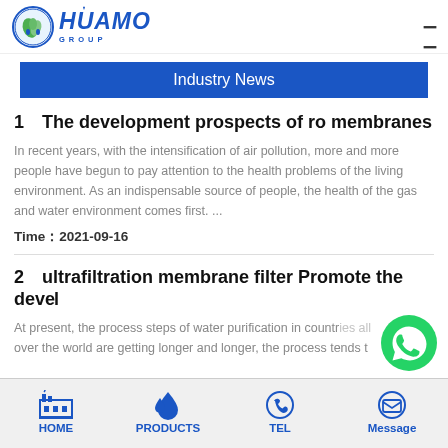HUAMO GROUP
Industry News
1【The development prospects of ro membranes
In recent years, with the intensification of air pollution, more and more people have begun to pay attention to the health problems of the living environment. As an indispensable source of people, the health of the gas and water environment comes first. ...
Time：2021-09-16
2【ultrafiltration membrane filter Promote the devel
At present, the process steps of water purification in countries all over the world are getting longer and longer, the process tends to be more complicated, the energy consumption increases, the e
HOME | PRODUCTS | TEL | Message